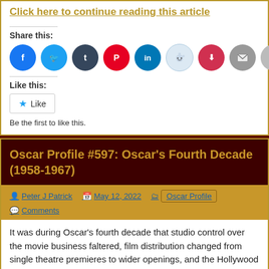Click here to continue reading this article
Share this:
[Figure (infographic): Row of social media sharing icon circles: Facebook (blue), Twitter (blue), Tumblr (dark blue), Pinterest (red), LinkedIn (blue), Reddit (light blue), Pocket (red), Email (gray), Print (gray)]
Like this:
Like
Be the first to like this.
Oscar Profile #597: Oscar’s Fourth Decade (1958-1967)
Peter J Patrick   May 12, 2022   Oscar Profile   Comments
It was during Oscar’s fourth decade that studio control over the movie business faltered, film distribution changed from single theatre premieres to wider openings, and the Hollywood Production Code, which in it that era prohibited, was later abolished